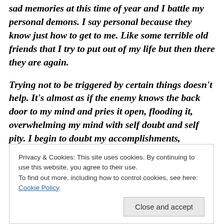sad memories at this time of year and I battle my personal demons. I say personal because they know just how to get to me. Like some terrible old friends that I try to put out of my life but then there they are again.
Trying not to be triggered by certain things doesn't help. It's almost as if the enemy knows the back door to my mind and pries it open, flooding it, overwhelming my mind with self doubt and self pity. I begin to doubt my accomplishments,  strengths, direction, abilities, creativity and then my Faith
Privacy & Cookies: This site uses cookies. By continuing to use this website, you agree to their use.
To find out more, including how to control cookies, see here: Cookie Policy